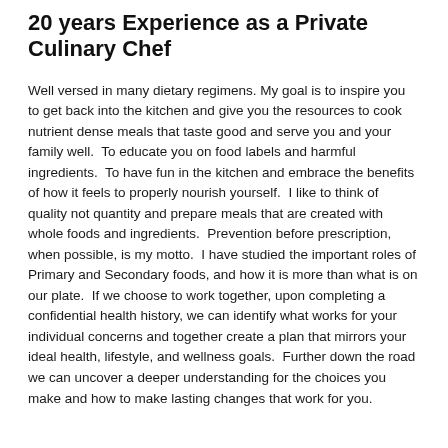20 years Experience as a Private Culinary Chef
Well versed in many dietary regimens. My goal is to inspire you to get back into the kitchen and give you the resources to cook nutrient dense meals that taste good and serve you and your family well.  To educate you on food labels and harmful ingredients.  To have fun in the kitchen and embrace the benefits of how it feels to properly nourish yourself.  I like to think of quality not quantity and prepare meals that are created with whole foods and ingredients.  Prevention before prescription, when possible, is my motto.  I have studied the important roles of Primary and Secondary foods, and how it is more than what is on our plate.  If we choose to work together, upon completing a confidential health history, we can identify what works for your individual concerns and together create a plan that mirrors your ideal health, lifestyle, and wellness goals.  Further down the road we can uncover a deeper understanding for the choices you make and how to make lasting changes that work for you.